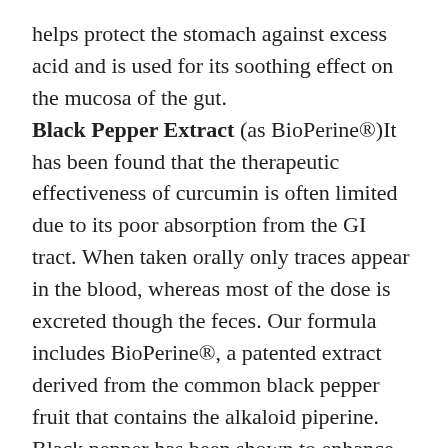helps protect the stomach against excess acid and is used for its soothing effect on the mucosa of the gut. Black Pepper Extract (as BioPerine®)It has been found that the therapeutic effectiveness of curcumin is often limited due to its poor absorption from the GI tract. When taken orally only traces appear in the blood, whereas most of the dose is excreted though the feces. Our formula includes BioPerine®, a patented extract derived from the common black pepper fruit that contains the alkaloid piperine. Black pepper has been shown to enhance the bioavailability and promote absorption of curcumin both in pre-clinical studies and in studies on human volunteers.
Research
It Some placeholder illustration text appears here...